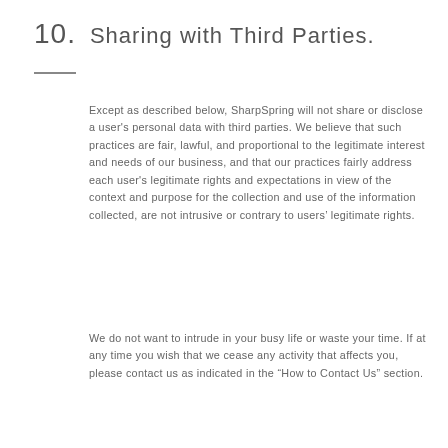10. Sharing with Third Parties.
Except as described below, SharpSpring will not share or disclose a user's personal data with third parties. We believe that such practices are fair, lawful, and proportional to the legitimate interest and needs of our business, and that our practices fairly address each user's legitimate rights and expectations in view of the context and purpose for the collection and use of the information collected, are not intrusive or contrary to users’ legitimate rights.
We do not want to intrude in your busy life or waste your time. If at any time you wish that we cease any activity that affects you, please contact us as indicated in the “How to Contact Us” section.